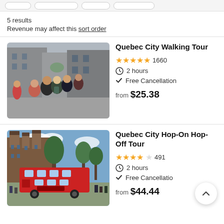5 results
Revenue may affect this sort order
[Figure (photo): Group of tourists on a Quebec City street with old stone buildings]
Quebec City Walking Tour
★★★★★ 1660
⏱ 2 hours
✓ Free Cancellation
from $25.38
[Figure (photo): Quebec City Hop-On Hop-Off red double decker bus with Chateau Frontenac in background]
Quebec City Hop-On Hop-Off Tour
★★★★☆ 491
⏱ 2 hours
✓ Free Cancellation
from $44.44